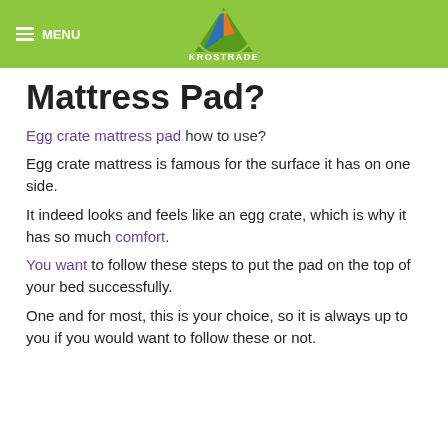MENU | KROSTRADE
Mattress Pad?
Egg crate mattress pad how to use?
Egg crate mattress is famous for the surface it has on one side.
It indeed looks and feels like an egg crate, which is why it has so much comfort.
You want to follow these steps to put the pad on the top of your bed successfully.
One and for most, this is your choice, so it is always up to you if you would want to follow these or not.